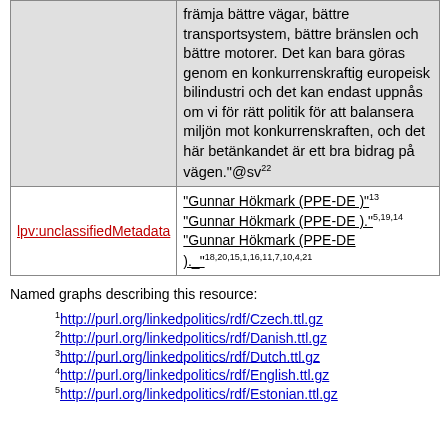|  | främja bättre vägar, bättre transportsystem, bättre bränslen och bättre motorer. Det kan bara göras genom en konkurrenskraftig europeisk bilindustri och det kan endast uppnås om vi för rätt politik för att balansera miljön mot konkurrenskraften, och det här betänkandet är ett bra bidrag på vägen."@sv22 |
| lpv:unclassifiedMetadata | "Gunnar Hökmark (PPE-DE )"13
"Gunnar Hökmark (PPE-DE )."5,19,14
"Gunnar Hökmark (PPE-DE )._"18,20,15,1,16,11,7,10,4,21 |
Named graphs describing this resource:
1http://purl.org/linkedpolitics/rdf/Czech.ttl.gz
2http://purl.org/linkedpolitics/rdf/Danish.ttl.gz
3http://purl.org/linkedpolitics/rdf/Dutch.ttl.gz
4http://purl.org/linkedpolitics/rdf/English.ttl.gz
5http://purl.org/linkedpolitics/rdf/Estonian.ttl.gz